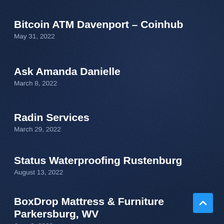Bitcoin ATM Davenport – Coinhub
May 31, 2022
Ask Amanda Danielle
March 8, 2022
Radin Services
March 29, 2022
Status Waterproofing Rustenburg
August 13, 2022
BoxDrop Mattress & Furniture Parkersburg, WV
June 2, 2022